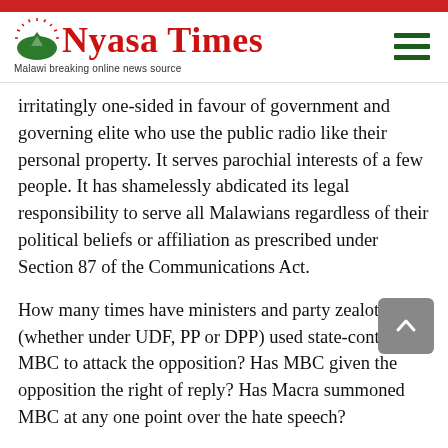Nyasa Times – Malawi breaking online news source
irritatingly one-sided in favour of government and governing elite who use the public radio like their personal property. It serves parochial interests of a few people. It has shamelessly abdicated its legal responsibility to serve all Malawians regardless of their political beliefs or affiliation as prescribed under Section 87 of the Communications Act.
How many times have ministers and party zealots (whether under UDF, PP or DPP) used state-controlled MBC to attack the opposition? Has MBC given the opposition the right of reply? Has Macra summoned MBC at any one point over the hate speech?
Unfortunately, the Parliamentary Committee on Media, Information and Communications is so ineffective that it